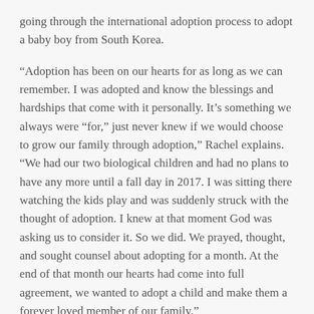going through the international adoption process to adopt a baby boy from South Korea.
“Adoption has been on our hearts for as long as we can remember. I was adopted and know the blessings and hardships that come with it personally. It’s something we always were “for,” just never knew if we would choose to grow our family through adoption,” Rachel explains. “We had our two biological children and had no plans to have any more until a fall day in 2017. I was sitting there watching the kids play and was suddenly struck with the thought of adoption. I knew at that moment God was asking us to consider it. So we did. We prayed, thought, and sought counsel about adopting for a month. At the end of that month our hearts had come into full agreement, we wanted to adopt a child and make them a forever loved member of our family.”
Rachel shares what it means to receive this grant for the adoption.
“I am overwhelmed with the recognition of God’s faithfulness